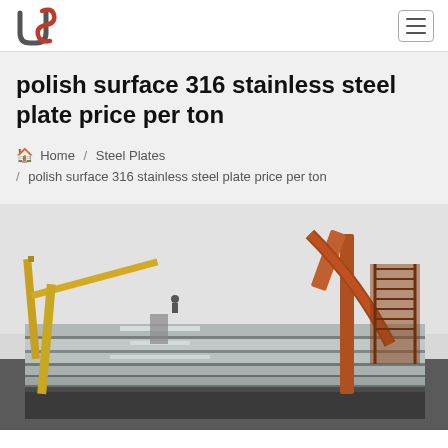Navigation bar with logo and hamburger menu
polish surface 316 stainless steel plate price per ton
Home / Steel Plates / polish surface 316 stainless steel plate price per ton
[Figure (photo): Industrial steel plates stacked outdoors with yellow and orange crane structures in the background against an overcast sky]